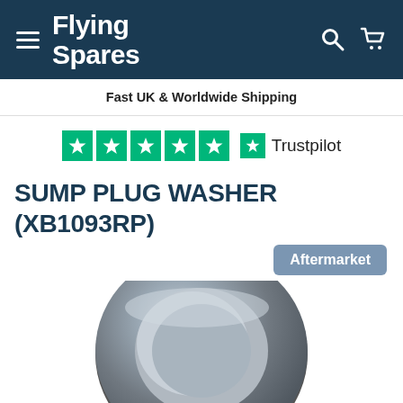Flying Spares
Fast UK & Worldwide Shipping
[Figure (logo): Trustpilot five green stars rating logo with text Trustpilot]
SUMP PLUG WASHER (XB1093RP)
Aftermarket
[Figure (photo): Photo of a metal sump plug washer ring, silver/zinc coloured, viewed from above showing the circular ring shape]